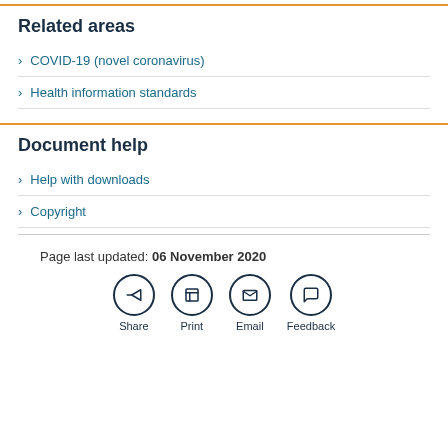Related areas
COVID-19 (novel coronavirus)
Health information standards
Document help
Help with downloads
Copyright
Page last updated: 06 November 2020
[Figure (infographic): Social sharing icons: Share, Print, Email, Feedback]